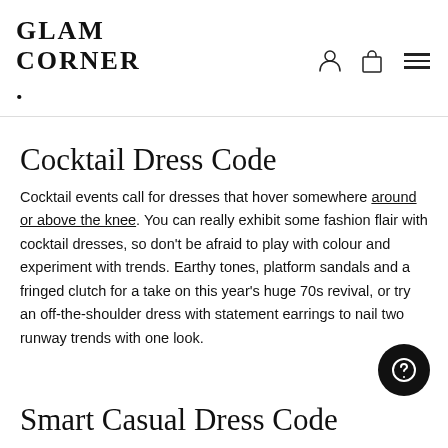GLAM CORNER.
Cocktail Dress Code
Cocktail events call for dresses that hover somewhere around or above the knee. You can really exhibit some fashion flair with cocktail dresses, so don't be afraid to play with colour and experiment with trends. Earthy tones, platform sandals and a fringed clutch for a take on this year's huge 70s revival, or try an off-the-shoulder dress with statement earrings to nail two runway trends with one look.
Smart Casual Dress Code